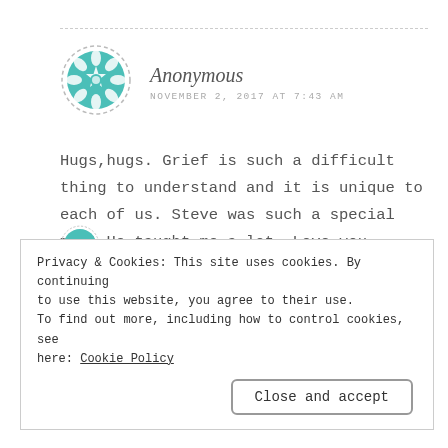[Figure (illustration): Circular teal/turquoise decorative avatar icon with geometric mandala-like pattern inside a dashed circular border]
Anonymous
NOVEMBER 2, 2017 AT 7:43 AM
Hugs,hugs. Grief is such a difficult thing to understand and it is unique to each of us. Steve was such a special man! He taught me a lot. Love you prayers for your family💕
Privacy & Cookies: This site uses cookies. By continuing to use this website, you agree to their use. To find out more, including how to control cookies, see here: Cookie Policy
Close and accept